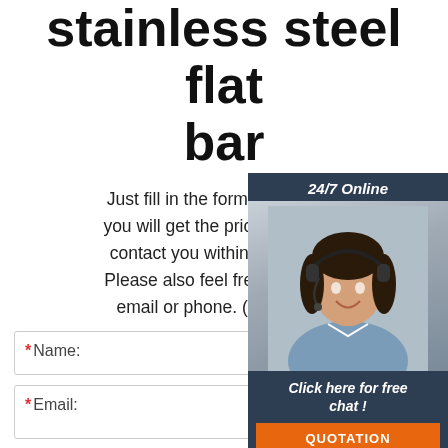stainless steel flat bar
Just fill in the form below, click submit, you will get the price list, and we will contact you within one working day. Please also feel free to contact us via email or phone. (* is required)
[Figure (photo): Customer service agent with headset, 24/7 Online chat widget with QUOTATION button]
* Name:
* Email:
Please Enter Other Contact Information
Whatsapp  Wechat  Skype  (radio buttons)
Viber